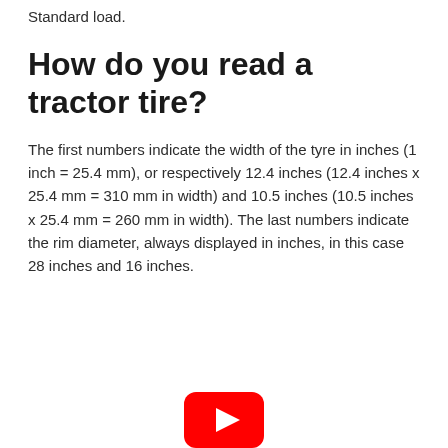Standard load.
How do you read a tractor tire?
The first numbers indicate the width of the tyre in inches (1 inch = 25.4 mm), or respectively 12.4 inches (12.4 inches x 25.4 mm = 310 mm in width) and 10.5 inches (10.5 inches x 25.4 mm = 260 mm in width). The last numbers indicate the rim diameter, always displayed in inches, in this case 28 inches and 16 inches.
[Figure (logo): YouTube logo icon (red rounded rectangle with white play triangle)]